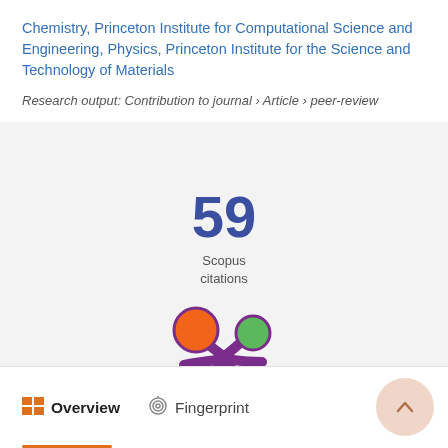Chemistry, Princeton Institute for Computational Science and Engineering, Physics, Princeton Institute for the Science and Technology of Materials
Research output: Contribution to journal › Article › peer-review
59 Scopus citations
[Figure (logo): Altmetric donut-style logo with orange, green, and purple colored circles on purple splat/asterisk shape]
Overview
Fingerprint